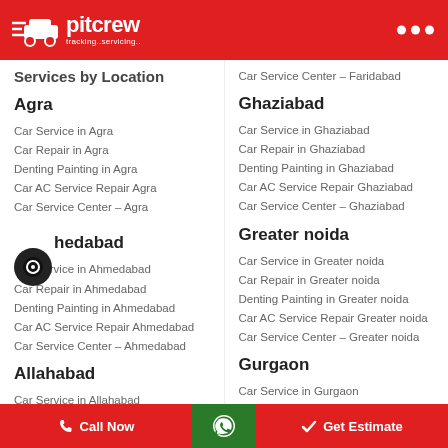pitcrew tracking..servicing..
Services by Location
Agra
Car Service in Agra
Car Repair in Agra
Denting Painting in Agra
Car AC Service Repair Agra
Car Service Center – Agra
Ahmedabad
Car Service in Ahmedabad
Car Repair in Ahmedabad
Denting Painting in Ahmedabad
Car AC Service Repair Ahmedabad
Car Service Center – Ahmedabad
Allahabad
Car Service in Allahabad
Car Repair in Allahabad
Denting Painting in Allahabad
Car Service Center – Faridabad
Ghaziabad
Car Service in Ghaziabad
Car Repair in Ghaziabad
Denting Painting in Ghaziabad
Car AC Service Repair Ghaziabad
Car Service Center – Ghaziabad
Greater noida
Car Service in Greater noida
Car Repair in Greater noida
Denting Painting in Greater noida
Car AC Service Repair Greater noida
Car Service Center – Greater noida
Gurgaon
Car Service in Gurgaon
Car Repair in Gurgaon
Call Now   Get Estimate